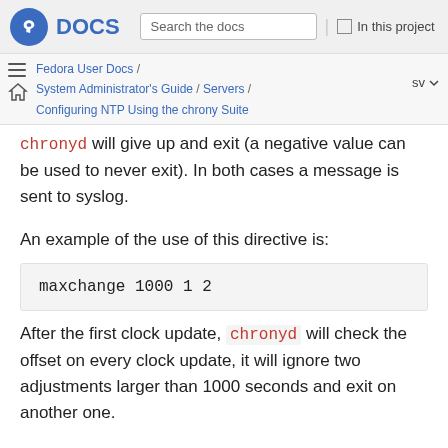Fedora DOCS — Search the docs | In this project
Fedora User Docs / System Administrator's Guide / Servers / Configuring NTP Using the chrony Suite — sv
chronyd will give up and exit (a negative value can be used to never exit). In both cases a message is sent to syslog.
An example of the use of this directive is:
maxchange 1000 1 2
After the first clock update, chronyd will check the offset on every clock update, it will ignore two adjustments larger than 1000 seconds and exit on another one.